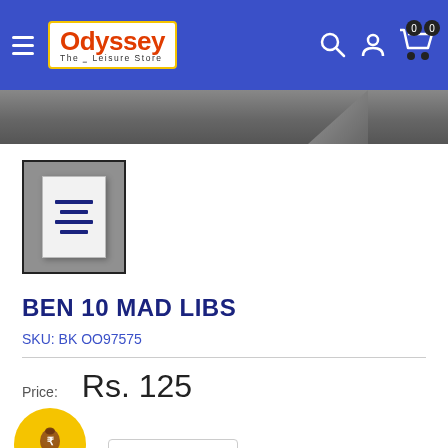[Figure (screenshot): Odyssey The Leisure Store website header with blue background, logo, hamburger menu, search icon, user icon, and cart icon]
[Figure (photo): Gray banner / hero image area below the header]
[Figure (photo): Product thumbnail image of Ben 10 Mad Libs book cover in a bordered frame]
BEN 10 MAD LIBS
SKU: BK OO97575
Price: Rs. 125
Quantity: 1